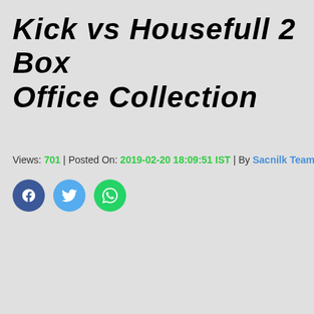Kick vs Housefull 2 Box Office Collection
Views: 701 | Posted On: 2019-02-20 18:09:51 IST | By Sacnilk Team
[Figure (infographic): Three social media share buttons: Facebook (blue circle with f icon), Twitter (light blue circle with bird icon), WhatsApp (green circle with phone icon)]